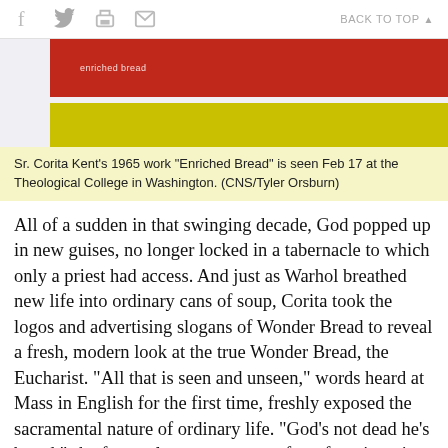f  [twitter]  [print]  [email]   BACK TO TOP ▲
[Figure (photo): Artwork 'Enriched Bread' by Sr. Corita Kent, 1965, showing red and yellow horizontal bands with text, displayed at Theological College in Washington.]
Sr. Corita Kent's 1965 work "Enriched Bread" is seen Feb 17 at the Theological College in Washington. (CNS/Tyler Orsburn)
All of a sudden in that swinging decade, God popped up in new guises, no longer locked in a tabernacle to which only a priest had access. And just as Warhol breathed new life into ordinary cans of soup, Corita took the logos and advertising slogans of Wonder Bread to reveal a fresh, modern look at the true Wonder Bread, the Eucharist. "All that is seen and unseen," words heard at Mass in English for the first time, freshly exposed the sacramental nature of ordinary life. "God's not dead he's bread," she famously wrote on one of my favorite prints, pointing